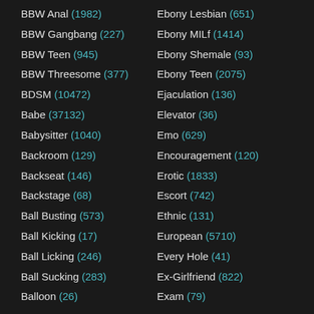BBW Anal (1982)
BBW Gangbang (227)
BBW Teen (945)
BBW Threesome (377)
BDSM (10472)
Babe (37132)
Babysitter (1040)
Backroom (129)
Backseat (146)
Backstage (68)
Ball Busting (573)
Ball Kicking (17)
Ball Licking (246)
Ball Sucking (283)
Balloon (26)
Ebony Lesbian (651)
Ebony MILf (1414)
Ebony Shemale (93)
Ebony Teen (2075)
Ejaculation (136)
Elevator (36)
Emo (629)
Encouragement (120)
Erotic (1833)
Escort (742)
Ethnic (131)
European (5710)
Every Hole (41)
Ex-Girlfriend (822)
Exam (79)